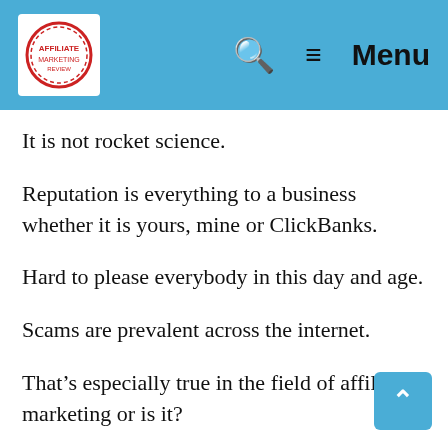Affiliate logo | Search | Menu
It is not rocket science.
Reputation is everything to a business whether it is yours, mine or ClickBanks.
Hard to please everybody in this day and age.
Scams are prevalent across the internet.
That’s especially true in the field of affiliate marketing or is it?